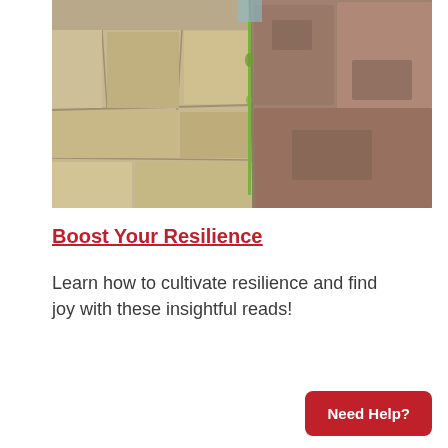[Figure (photo): Close-up photo of stone pavers with a green plant seedling or stem growing up through a crack between the stones, symbolizing resilience and growth.]
Boost Your Resilience
Learn how to cultivate resilience and find joy with these insightful reads!
Need Help?